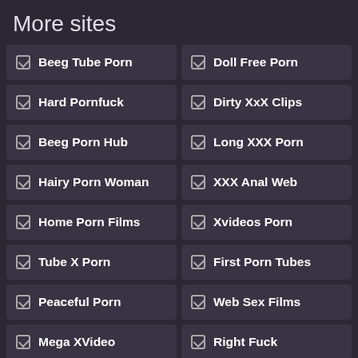More sites
☑ Beeg Tube Porn
☑ Doll Free Porn
☑ Hard Pornfuck
☑ Dirty XxX Clips
☑ Beeg Porn Hub
☑ Long XXX Porn
☑ Hairy Porn Woman
☑ XXX Anal Web
☑ Home Porn Films
☑ Xvideos Porn
☑ Tube X Porn
☑ First Porn Tubes
☑ Peaceful Porn
☑ Web Sex Films
☑ Mega XVideo
☑ Right Fuck